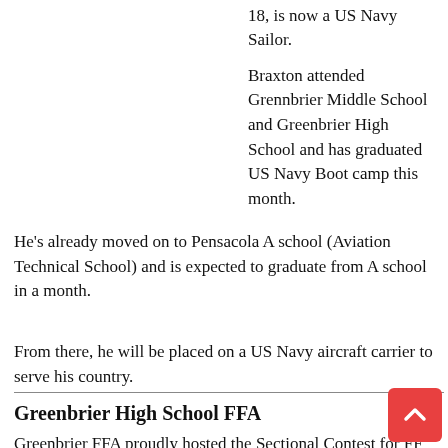18, is now a US Navy Sailor.
Braxton attended Grennbrier Middle School and Greenbrier High School and has graduated US Navy Boot camp this month.
He's already moved on to Pensacola A school (Aviation Technical School) and is expected to graduate from A school in a month.
From there, he will be placed on a US Navy aircraft carrier to serve his country.
Greenbrier High School FFA
Greenbrier FFA proudly hosted the Sectional Contest for FFA Individual Public Speaking Competitions on January 22...